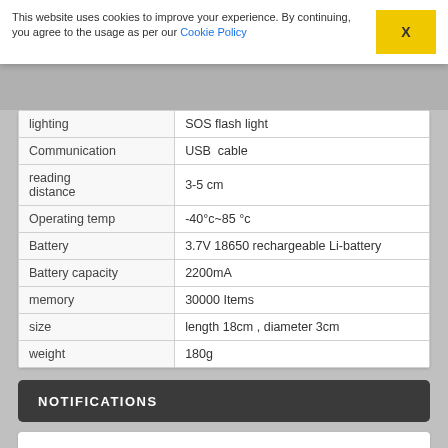This website uses cookies to improve your experience. By continuing, you agree to the usage as per our Cookie Policy
| Property | Value |
| --- | --- |
| lighting | SOS flash light |
| Communication | USB  cable |
| reading distance | 3-5 cm |
| Operating temp | -40°c~85 °c |
| Battery | 3.7V 18650 rechargeable Li-battery |
| Battery capacity | 2200mA |
| memory | 30000 Items |
| size | length 18cm , diameter 3cm |
| weight | 180g |
NOTIFICATIONS
Notify me of updates to Rugged guard tour mobile patrol custom with flashlight